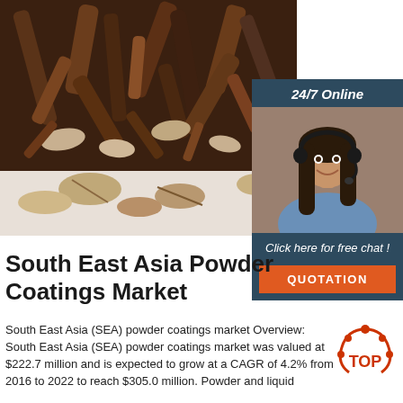[Figure (photo): Close-up photo of dried herbal roots/cloves on a white surface]
[Figure (infographic): 24/7 Online chat widget with a woman wearing a headset, dark blue background, 'Click here for free chat!' text, and orange QUOTATION button]
South East Asia Powder Coatings Market
South East Asia (SEA) powder coatings market Overview: South East Asia (SEA) powder coatings market was valued at $222.7 million and is expected to grow at a CAGR of 4.2% from 2016 to 2022 to reach $305.0 million. Powder and liquid